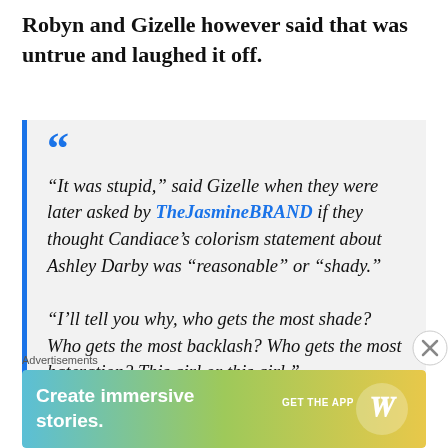Robyn and Gizelle however said that was untrue and laughed it off.
“It was stupid,” said Gizelle when they were later asked by TheJasmineBRAND if they thought Candiace’s colorism statement about Ashley Darby was “reasonable” or “shady.”

“I’ll tell you why, who gets the most shade? Who gets the most backlash? Who gets the most hateration? This girl or this girl.”
Advertisements
[Figure (infographic): WordPress advertisement banner: 'Create immersive stories.' with GET THE APP call to action and WordPress logo on a teal-to-yellow gradient background.]